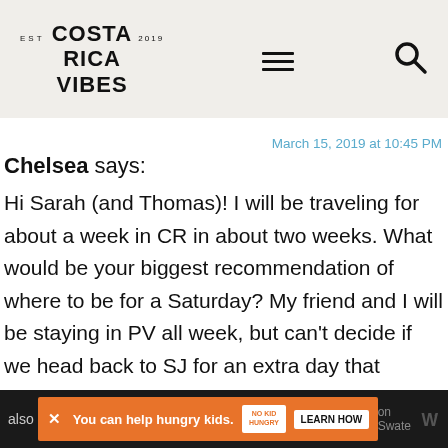COSTA RICA VIBES
March 15, 2019 at 10:45 PM
Chelsea says:
Hi Sarah (and Thomas)! I will be traveling for about a week in CR in about two weeks. What would be your biggest recommendation of where to be for a Saturday? My friend and I will be staying in PV all week, but can’t decide if we head back to SJ for an extra day that Saturday, or remain in PV instead and head back Sunday before our flight home. We were also
[Figure (screenshot): Advertisement bar at bottom: orange background with 'You can help hungry kids.' text, No Kid Hungry logo, and LEARN HOW button on dark background]